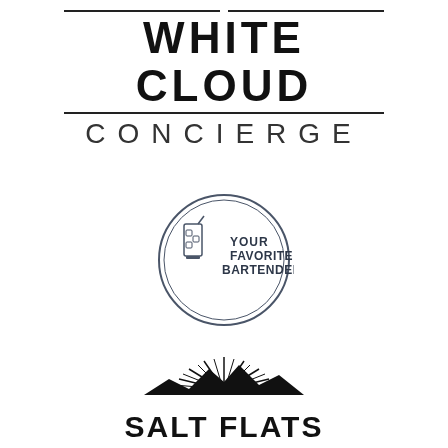[Figure (logo): White Cloud Concierge logo with decorative horizontal lines above 'WHITE CLOUD' text and a thin rule beneath, followed by 'CONCIERGE' in spaced uppercase letters]
[Figure (logo): Circular badge logo with a cocktail glass illustration and text 'YOUR FAVORITE BARTENDER' inside]
[Figure (logo): Salt Flats logo with radiating spiky lines above mountains silhouette and bold text 'SALT FLATS']